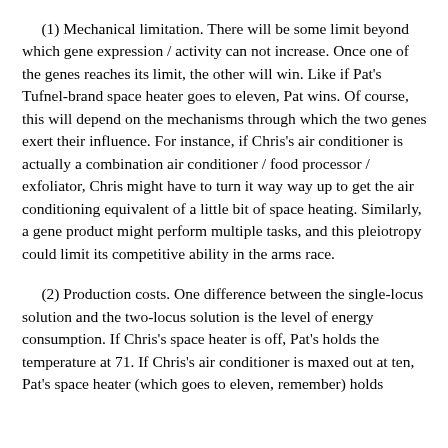(1) Mechanical limitation. There will be some limit beyond which gene expression / activity can not increase. Once one of the genes reaches its limit, the other will win. Like if Pat's Tufnel-brand space heater goes to eleven, Pat wins. Of course, this will depend on the mechanisms through which the two genes exert their influence. For instance, if Chris's air conditioner is actually a combination air conditioner / food processor / exfoliator, Chris might have to turn it way way up to get the air conditioning equivalent of a little bit of space heating. Similarly, a gene product might perform multiple tasks, and this pleiotropy could limit its competitive ability in the arms race.
(2) Production costs. One difference between the single-locus solution and the two-locus solution is the level of energy consumption. If Chris's space heater is off, Pat's holds the temperature at 71. If Chris's air conditioner is maxed out at ten, Pat's space heater (which goes to eleven, remember) holds